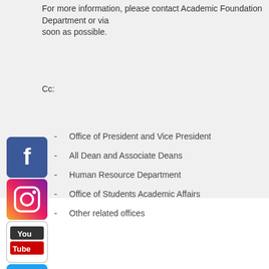For more information, please contact Academic Foundation Department or via soon as possible.
Cc:
Office of President and Vice President
All Dean and Associate Deans
Human Resource Department
Office of Students Academic Affairs
Other related offices
[Figure (other): Social media icons on the left side: Facebook, Instagram, YouTube, Twitter, LinkedIn, Wikipedia]